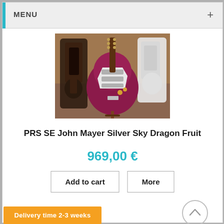MENU
[Figure (photo): A red/dragon fruit colored PRS SE John Mayer Silver Sky electric guitar on a guitar stand in a music shop, with other guitars visible in the background.]
PRS SE John Mayer Silver Sky Dragon Fruit
969,00 €
Add to cart
More
Delivery time 2-3 weeks